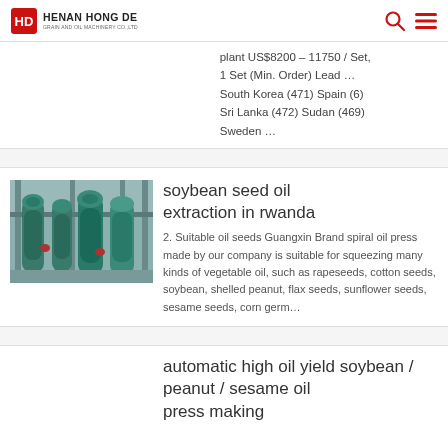HENAN HONG DE GRAIN AND OIL MACHINERY CO.,LTD
plant US$8200 – 11750 / Set, 1 Set (Min. Order) Lead … South Korea (471) Spain (6) Sri Lanka (472) Sudan (469) Sweden …
soybean seed oil extraction in rwanda
2. Suitable oil seeds Guangxin Brand spiral oil press made by our company is suitable for squeezing many kinds of vegetable oil, such as rapeseeds, cotton seeds, soybean, shelled peanut, flax seeds, sunflower seeds, sesame seeds, corn germ…
automatic high oil yield soybean / peanut / sesame oil press making